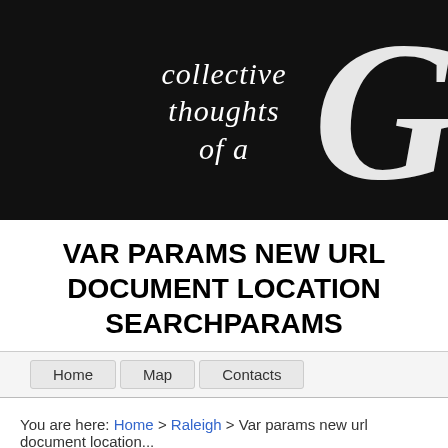[Figure (illustration): Black banner header with calligraphic italic text reading 'collective thoughts of a' and a large decorative white letter 'G' on the right side]
VAR PARAMS NEW URL DOCUMENT LOCATION SEARCHPARAMS
Home
Map
Contacts
You are here: Home > Raleigh > Var params new url document location...